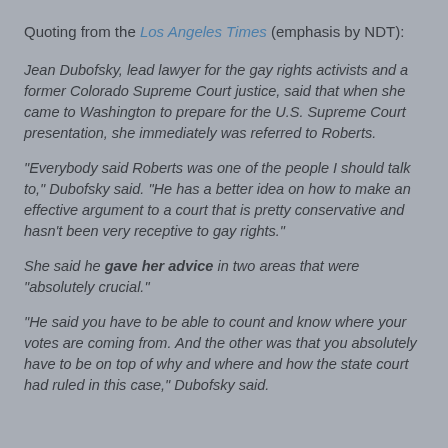Quoting from the Los Angeles Times (emphasis by NDT):
Jean Dubofsky, lead lawyer for the gay rights activists and a former Colorado Supreme Court justice, said that when she came to Washington to prepare for the U.S. Supreme Court presentation, she immediately was referred to Roberts.
"Everybody said Roberts was one of the people I should talk to," Dubofsky said. "He has a better idea on how to make an effective argument to a court that is pretty conservative and hasn't been very receptive to gay rights."
She said he gave her advice in two areas that were "absolutely crucial."
"He said you have to be able to count and know where your votes are coming from. And the other was that you absolutely have to be on top of why and where and how the state court had ruled in this case," Dubofsky said.